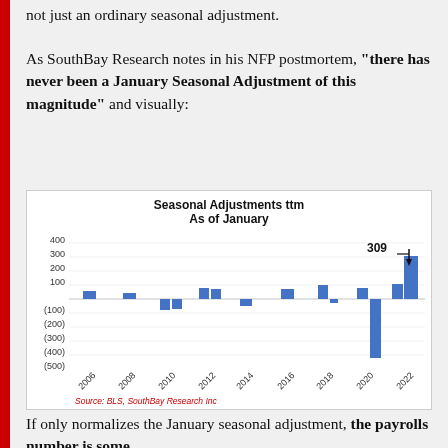not just an ordinary seasonal adjustment.
As SouthBay Research notes in his NFP postmortem, "there has never been a January Seasonal Adjustment of this magnitude" and visually:
[Figure (bar-chart): Bar chart showing Seasonal Adjustments ttm as of January from 2006 to 2022. Most values are small (between -100 and 100). 2022 shows a large positive bar at 309 and a large negative bar around -420.]
Source: BLS, SouthBay Research Inc
If only normalizes the January seasonal adjustment, the payrolls number is some